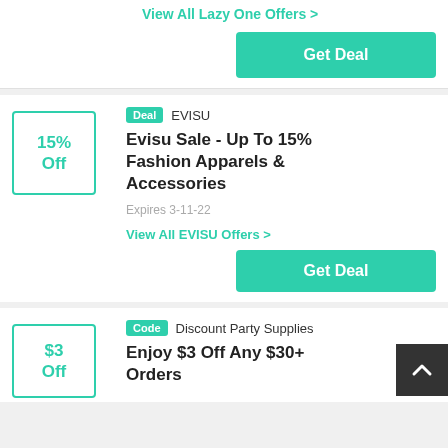View All Lazy One Offers >
Get Deal
Deal  EVISU
Evisu Sale - Up To 15% Fashion Apparels & Accessories
15% Off
Expires 3-11-22
View All EVISU Offers >
Get Deal
Code  Discount Party Supplies
$3 Off
Enjoy $3 Off Any $30+ Orders